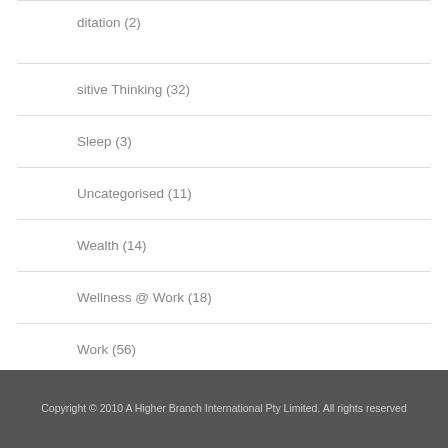ditation (2)
sitive Thinking (32)
Sleep (3)
Uncategorised (11)
Wealth (14)
Wellness @ Work (18)
Work (56)
Copyright © 2010 A Higher Branch International Pty Limited. All rights reserved